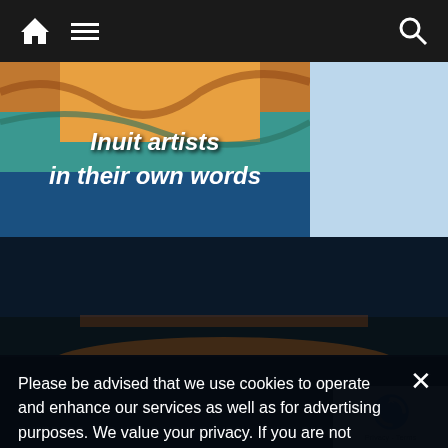[Figure (screenshot): Website navigation bar with home icon, hamburger menu icon, and search icon on dark background]
[Figure (screenshot): Website banner showing 'Inuit artists in their own words' with colorful artistic background image]
The Arctic in Pictures
Please be advised that we use cookies to operate and enhance our services as well as for advertising purposes. We value your privacy. If you are not comfortable with us using this information, please review your settings before continuing your visit.
Manage your navigation settings
Find out more